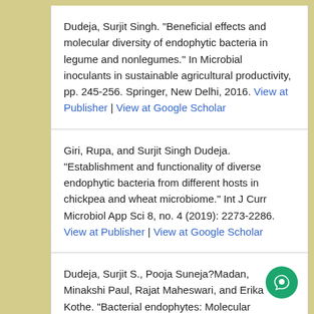Dudeja, Surjit Singh. "Beneficial effects and molecular diversity of endophytic bacteria in legume and nonlegumes." In Microbial inoculants in sustainable agricultural productivity, pp. 245-256. Springer, New Delhi, 2016. View at Publisher | View at Google Scholar
Giri, Rupa, and Surjit Singh Dudeja. "Establishment and functionality of diverse endophytic bacteria from different hosts in chickpea and wheat microbiome." Int J Curr Microbiol App Sci 8, no. 4 (2019): 2273-2286. View at Publisher | View at Google Scholar
Dudeja, Surjit S., Pooja Suneja?Madan, Minakshi Paul, Rajat Maheswari, and Erika Kothe. "Bacterial endophytes: Molecular